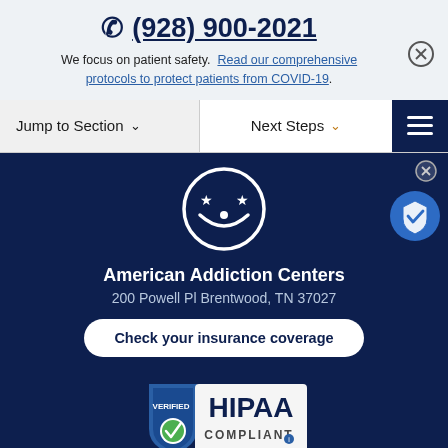(928) 900-2021
We focus on patient safety. Read our comprehensive protocols to protect patients from COVID-19.
Jump to Section ∨
Next Steps ∨
[Figure (logo): American Addiction Centers smiley face logo with star eyes on dark blue background]
American Addiction Centers
200 Powell Pl Brentwood, TN 37027
Check your insurance coverage
[Figure (logo): HIPAA Compliant Verified badge with shield and green checkmark]